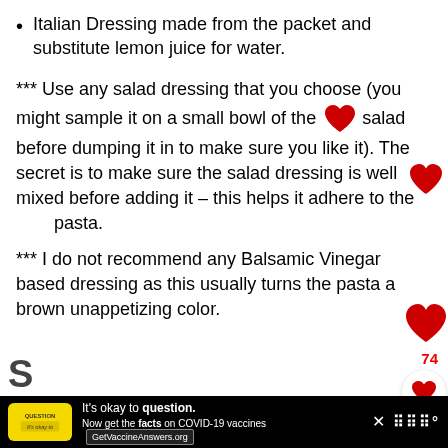Italian Dressing made from the packet and substitute lemon juice for water.
*** Use any salad dressing that you choose (you might sample it on a small bowl of the pasta salad before dumping it in to make sure you like it). The secret is to make sure the salad dressing is well mixed before adding it  – this helps it adhere to the pasta.
*** I do not recommend any Balsamic Vinegar based dressing as this usually turns the pasta a brown unappetizing color.
[Figure (infographic): Advertisement banner: black background with yellow badge showing 'It's okay to question. Now get the facts on COVID-19 vaccines GetVaccineAnswers.org' with close button and Tasty logo]
S (partial title cut off at bottom)